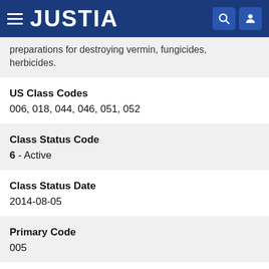JUSTIA
preparations for destroying vermin, fungicides, herbicides.
US Class Codes
006, 018, 044, 046, 051, 052
Class Status Code
6 - Active
Class Status Date
2014-08-05
Primary Code
005
Correspondences
Name